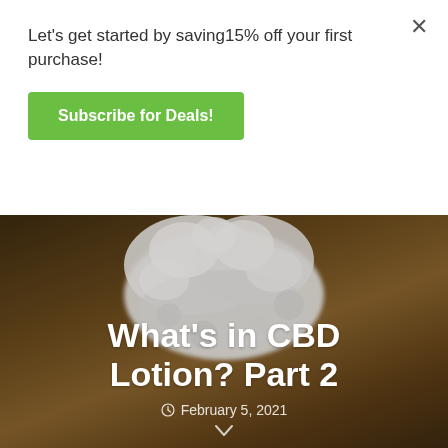Let's get started by saving15% off your first purchase!
Subscribe for Deals!
[Figure (photo): White crystalline CBD/lotion substance on a wooden surface with warm brown bokeh background]
What’s in CBD Lotion? Part 2
February 5, 2021